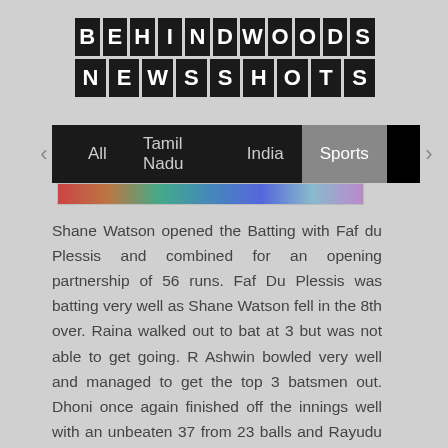[Figure (logo): Behindwoods Newsshots logo with block letter tiles on black squares]
All  Tamil Nadu  India  Sports
[Figure (photo): Colorful image strip/banner]
Shane Watson opened the Batting with Faf du Plessis and combined for an opening partnership of 56 runs. Faf Du Plessis was batting very well as Shane Watson fell in the 8th over. Raina walked out to bat at 3 but was not able to get going. R Ashwin bowled very well and managed to get the top 3 batsmen out. Dhoni once again finished off the innings well with an unbeaten 37 from 23 balls and Rayudu supported him